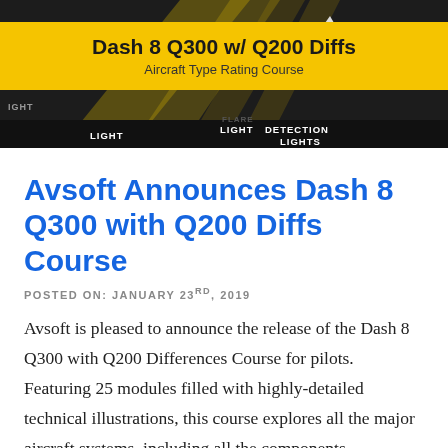[Figure (illustration): Banner image for the Dash 8 Q300 with Q200 Diffs Aircraft Type Rating Course. Dark background with a plane graphic, yellow banner showing 'Dash 8 Q300 w/ Q200 Diffs' and 'Aircraft Type Rating Course', and bottom bar showing LIGHT, LIGHT DETECTION, LIGHTS labels.]
Avsoft Announces Dash 8 Q300 with Q200 Diffs Course
POSTED ON: JANUARY 23RD, 2019
Avsoft is pleased to announce the release of the Dash 8 Q300 with Q200 Differences Course for pilots. Featuring 25 modules filled with highly-detailed technical illustrations, this course explores all the major aircraft systems, including all the components, operations